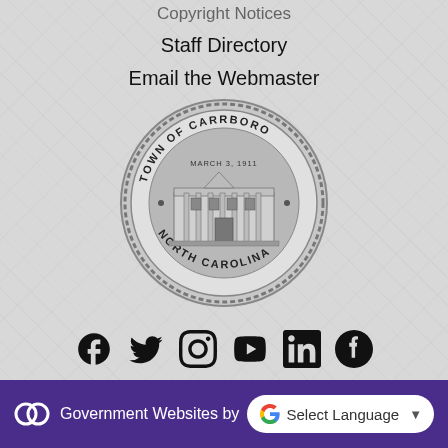Copyright Notices
Staff Directory
Email the Webmaster
[Figure (logo): Official seal of the Town of Carrboro, North Carolina. Circular seal with text 'TOWN OF CARRBORO' at top, 'NORTH CAROLINA' at bottom, 'MARCH 3, 1911' in center, and an image of a town building/train station in the middle. Gray/silver color.]
[Figure (infographic): Row of social media icons: Facebook, Twitter, Instagram, YouTube, LinkedIn, Nextdoor]
Government Websites by CivicPlus | Select Language